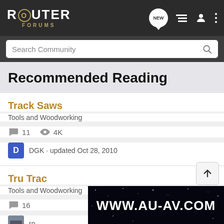ROUTER FORUMS
Recommended Reading
Track Saws
Tools and Woodworking
11  4K
DGK · updated Oct 28, 2010
Tru Trac
Tools and Woodworking
16
ro
[Figure (screenshot): Advertisement banner showing www.au-av.com on a dark starry background]